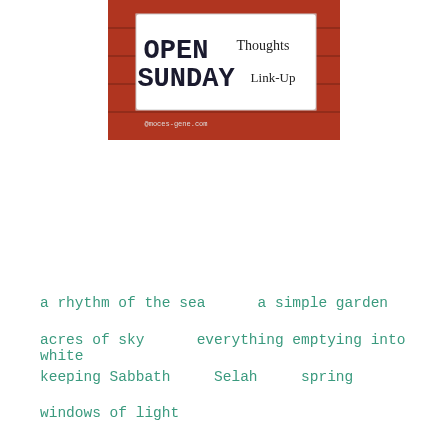[Figure (photo): Open Sunday Thoughts Link-Up banner image showing a white sign with bold black text on a red barn background reading OPEN SUNDAY Thoughts Link-Up, with small text @mces-gene.com at bottom]
a rhythm of the sea     a simple garden
acres of sky     everything emptying into white
keeping Sabbath     Selah     spring
windows of light
Sandi  15 April 2018 at 07:37
Beautiful!